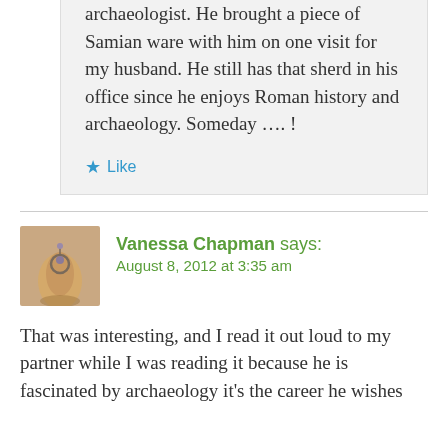archaeologist. He brought a piece of Samian ware with him on one visit for my husband. He still has that sherd in his office since he enjoys Roman history and archaeology. Someday …. !
★ Like
Vanessa Chapman says:
August 8, 2012 at 3:35 am
[Figure (photo): Avatar thumbnail of a hand with a ring or tattoo]
That was interesting, and I read it out loud to my partner while I was reading it because he is fascinated by archaeology it's the career he wishes